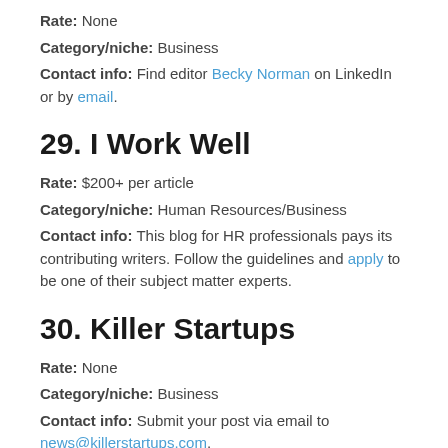Rate: None
Category/niche: Business
Contact info: Find editor Becky Norman on LinkedIn or by email.
29. I Work Well
Rate: $200+ per article
Category/niche: Human Resources/Business
Contact info: This blog for HR professionals pays its contributing writers. Follow the guidelines and apply to be one of their subject matter experts.
30. Killer Startups
Rate: None
Category/niche: Business
Contact info: Submit your post via email to news@killerstartups.com.